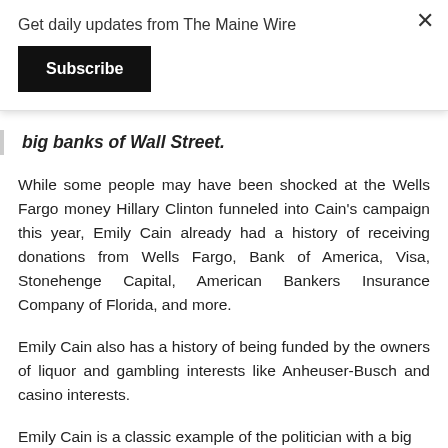Get daily updates from The Maine Wire
Subscribe
big banks of Wall Street.
While some people may have been shocked at the Wells Fargo money Hillary Clinton funneled into Cain's campaign this year, Emily Cain already had a history of receiving donations from Wells Fargo, Bank of America, Visa, Stonehenge Capital, American Bankers Insurance Company of Florida, and more.
Emily Cain also has a history of being funded by the owners of liquor and gambling interests like Anheuser-Busch and casino interests.
Emily Cain is a classic example of the politician with a big